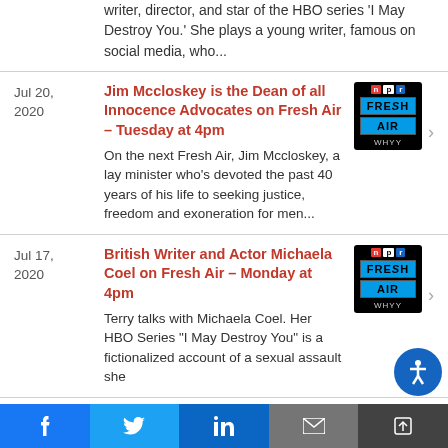writer, director, and star of the HBO series 'I May Destroy You.' She plays a young writer, famous on social media, who...
Jul 20, 2020
Jim Mccloskey is the Dean of all Innocence Advocates on Fresh Air – Tuesday at 4pm
On the next Fresh Air, Jim Mccloskey, a lay minister who's devoted the past 40 years of his life to seeking justice, freedom and exoneration for men...
[Figure (logo): NPR Fresh Air WHYY logo — black background with npr letters in colored boxes, FRESH AIR in blue boxes]
Jul 17, 2020
British Writer and Actor Michaela Coel on Fresh Air – Monday at 4pm
Terry talks with Michaela Coel. Her HBO Series "I May Destroy You" is a fictionalized account of a sexual assault she
[Figure (logo): NPR Fresh Air WHYY logo — black background with npr letters in colored boxes, FRESH AIR in blue boxes]
Facebook | Twitter | LinkedIn | Email | Share